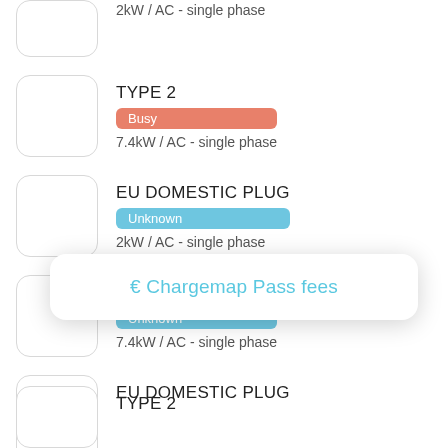2kW / AC - single phase
TYPE 2 | Busy | 7.4kW / AC - single phase
EU DOMESTIC PLUG | Unknown | 2kW / AC - single phase
TYPE 2 | Unknown | 7.4kW / AC - single phase
EU DOMESTIC PLUG
€ Chargemap Pass fees
TYPE 2